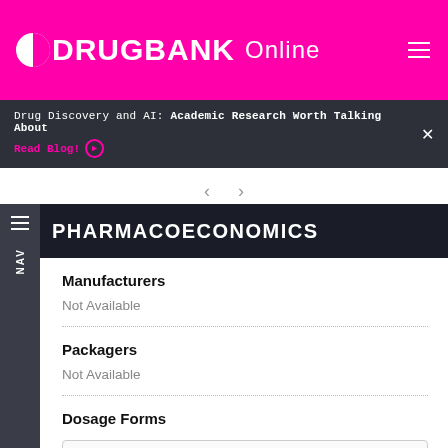DRUGBANK Online
Drug Discovery and AI: Academic Research Worth Talking About Read Blog!
PHARMACOECONOMICS
Manufacturers
Not Available
Packagers
Not Available
Dosage Forms
Search